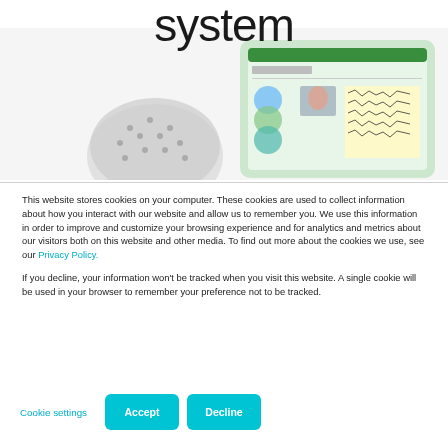system
[Figure (screenshot): Screenshot of an EEG/neuroscience software interface showing brain topography maps and waveform data on a monitor, with an EEG cap in the foreground]
This website stores cookies on your computer. These cookies are used to collect information about how you interact with our website and allow us to remember you. We use this information in order to improve and customize your browsing experience and for analytics and metrics about our visitors both on this website and other media. To find out more about the cookies we use, see our Privacy Policy.

If you decline, your information won't be tracked when you visit this website. A single cookie will be used in your browser to remember your preference not to be tracked.
Cookie settings
Accept
Decline